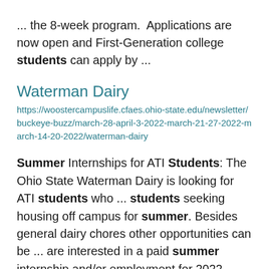... the 8-week program.  Applications are now open and First-Generation college students can apply by ...
Waterman Dairy
https://woostercampuslife.cfaes.ohio-state.edu/newsletter/buckeye-buzz/march-28-april-3-2022-march-21-27-2022-march-14-20-2022/waterman-dairy
Summer Internships for ATI Students: The Ohio State Waterman Dairy is looking for ATI students who ... students seeking housing off campus for summer. Besides general dairy chores other opportunities can be ... are interested in a paid summer internship and/or employment for 2022.